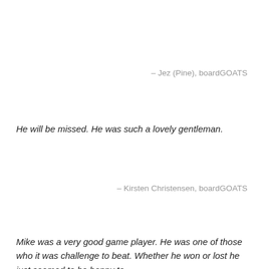– Jez (Pine), boardGOATS
He will be missed. He was such a lovely gentleman.
– Kirsten Christensen, boardGOATS
Mike was a very good game player. He was one of those who it was challenge to beat. Whether he won or lost he just seemed to be happy to...